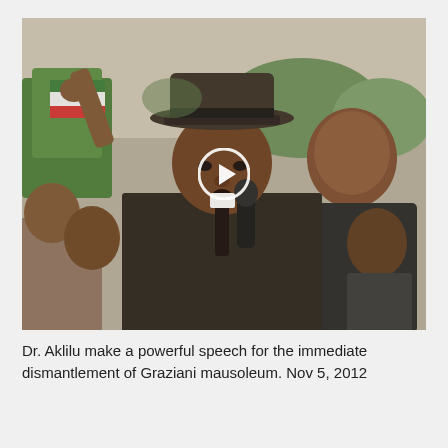[Figure (photo): A man wearing a hat and dark coat speaks into a microphone at an outdoor protest or rally. Behind him are other people and signs/flags. A video play button overlay is visible in the center of the image.]
Dr. Aklilu make a powerful speech for the immediate dismantlement of Graziani mausoleum. Nov 5, 2012